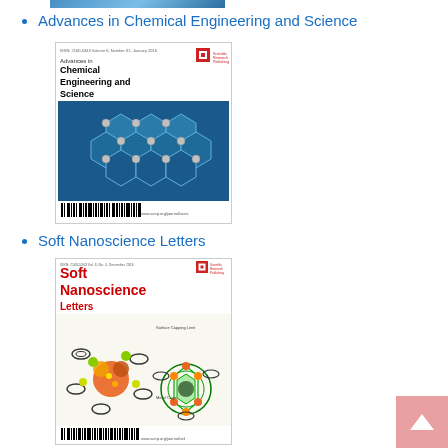[Figure (illustration): Partial journal cover visible at very top of page (cropped)]
Advances in Chemical Engineering and Science
[Figure (illustration): Journal cover of 'Advances in Chemical Engineering and Science' showing Scientific Research Publishing logo, ISSN numbers, volume/number info, bold title text, and a nanotechnology graphene-like molecular structure image with barcode at bottom]
Soft Nanoscience Letters
[Figure (illustration): Journal cover of 'Soft Nanoscience Letters' showing Scientific Research Publishing logo, red bold title text, and molecular nanoparticle imagery with barcode at bottom]